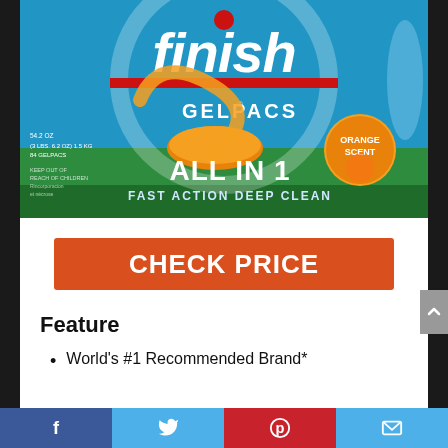[Figure (photo): Finish Gelpacs dishwasher detergent box — orange scent, All In 1 Fast Action Deep Clean, 54.2oz, 84 gelpacs]
CHECK PRICE
Feature
World's #1 Recommended Brand*